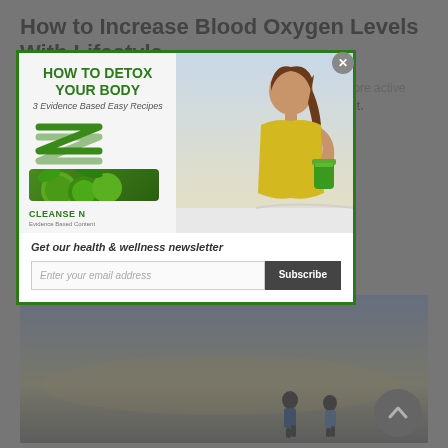How to Increase Blood Oxygen Levels With Lifestyle
Lifestyle can play a big role in your blood oxygen levels. The more active you are with your lifestyle, the better. As they say use it or lose it.
Here are some great tips to increase your blood oxygen levels:
[Figure (screenshot): Modal popup advertisement: 'HOW TO DETOX YOUR BODY - 3 Evidence Based Easy Recipes' with a photo of a woman holding a green drink, a newsletter signup form with 'Enter your email address' and 'Subscribe' button, and a close (X) button. Green border.]
Exercise & Oxygen Levels
[Figure (photo): Outdoor scenic photo showing two people running/jogging at dusk or dawn with dramatic sky, with a circular scroll-to-top button overlay.]